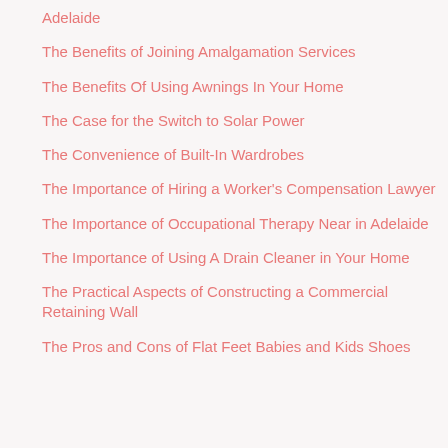Adelaide
The Benefits of Joining Amalgamation Services
The Benefits Of Using Awnings In Your Home
The Case for the Switch to Solar Power
The Convenience of Built-In Wardrobes
The Importance of Hiring a Worker's Compensation Lawyer
The Importance of Occupational Therapy Near in Adelaide
The Importance of Using A Drain Cleaner in Your Home
The Practical Aspects of Constructing a Commercial Retaining Wall
The Pros and Cons of Flat Feet Babies and Kids Shoes